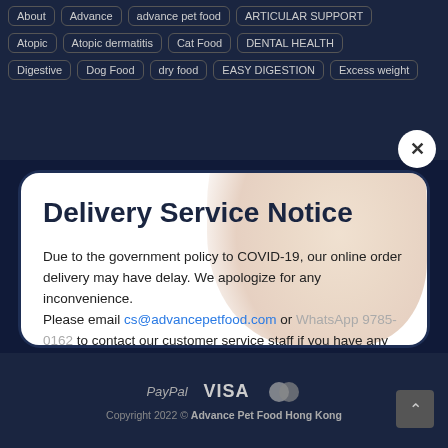About | Advance | advance pet food | ARTICULAR SUPPORT
Atopic | Atopic dermatitis | Cat Food | DENTAL HEALTH
Digestive | Dog Food | dry food | EASY DIGESTION | Excess weight
Delivery Service Notice
Due to the government policy to COVID-19, our online order delivery may have delay. We apologize for any inconvenience.
Please email cs@advancepetfood.com or WhatsApp 9785-0162 to contact our customer service staff if you have any questions. thank you! The Advance Pet Food HK team
PayPal  VISA  Mastercard
Copyright 2022 © Advance Pet Food Hong Kong